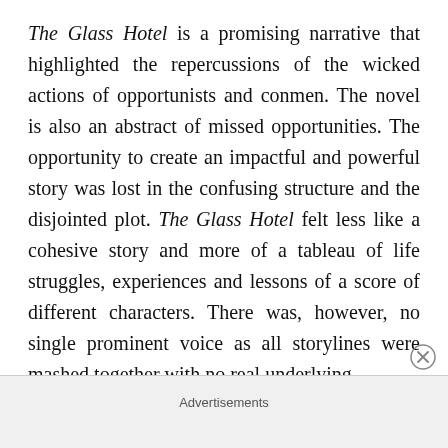The Glass Hotel is a promising narrative that highlighted the repercussions of the wicked actions of opportunists and conmen. The novel is also an abstract of missed opportunities. The opportunity to create an impactful and powerful story was lost in the confusing structure and the disjointed plot. The Glass Hotel felt less like a cohesive story and more of a tableau of life struggles, experiences and lessons of a score of different characters. There was, however, no single prominent voice as all storylines were mashed together with no real underlying
Advertisements